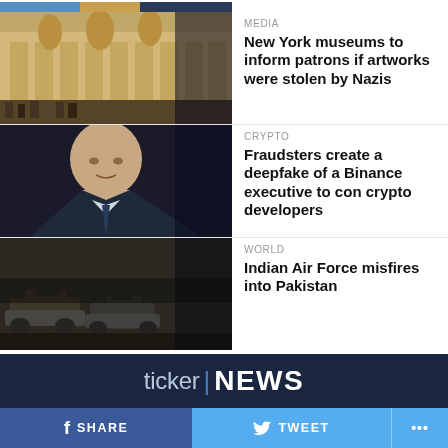[Figure (photo): Partial top image strip, appears to be a colorful museum or building facade]
[Figure (photo): Museum or ornate building exterior with sculptures and crowds]
MEDIA
New York museums to inform patrons if artworks were stolen by Nazis
[Figure (photo): Headshot of a bald man in a dark suit, appears to be a business executive]
CRYPTO
Fraudsters create a deepfake of a Binance executive to con crypto developers
[Figure (photo): Military vehicles or tanks in formation, black and white or dark tones]
WORLD
Indian Air Force misfires into Pakistan
ticker | NEWS
SHARE   TWEET   ...